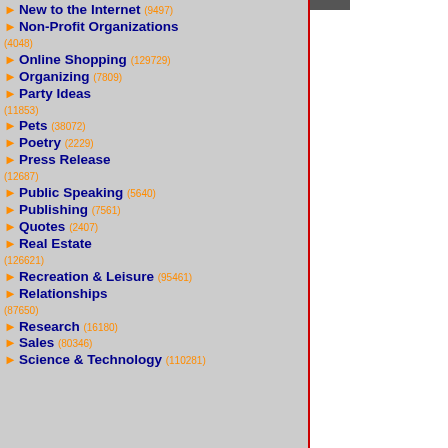New to the Internet (9497)
Non-Profit Organizations (4048)
Online Shopping (129729)
Organizing (7809)
Party Ideas (11853)
Pets (38072)
Poetry (2229)
Press Release (12687)
Public Speaking (5640)
Publishing (7561)
Quotes (2407)
Real Estate (126621)
Recreation & Leisure (95461)
Relationships (87650)
Research (16180)
Sales (80346)
Science & Technology (110281)